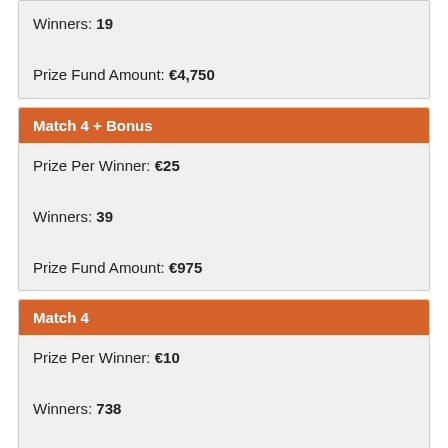Winners: 19
Prize Fund Amount: €4,750
Match 4 + Bonus
Prize Per Winner: €25
Winners: 39
Prize Fund Amount: €975
Match 4
Prize Per Winner: €10
Winners: 738
Prize Fund Amount: €7,380
Match 3 + Bonus
Prize Per Winner: €5